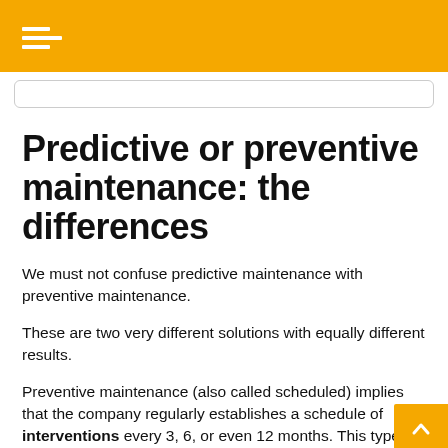Predictive or preventive maintenance: the differences
We must not confuse predictive maintenance with preventive maintenance.
These are two very different solutions with equally different results.
Preventive maintenance (also called scheduled) implies that the company regularly establishes a schedule of interventions every 3, 6, or even 12 months. This type of